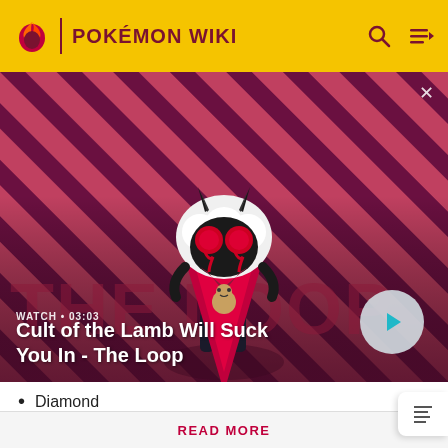POKÉMON WIKI
[Figure (screenshot): Video thumbnail showing a cartoon lamb character from 'Cult of the Lamb' game against a red and dark diagonal striped background. Text overlay reads WATCH • 03:03 and Cult of the Lamb Will Suck You In - The Loop with a play button.]
Diamond
Don't like the ads? Then create an account! Users with
READ MORE